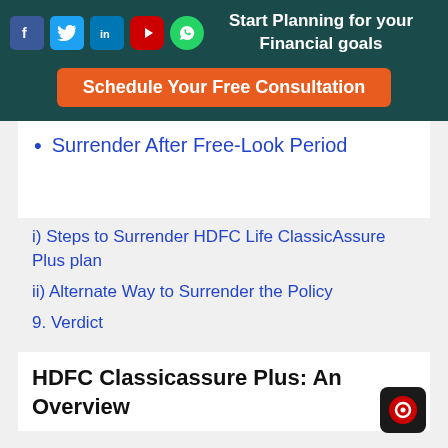Start Planning for your Financial goals
Schedule Your Free Consultation
Surrender After Free-Look Period
i) Steps to Surrender HDFC Life ClassicAssure Plus plan
ii) Alternate Way to Surrender the Policy
9. Verdict
HDFC Classicassure Plus: An Overview